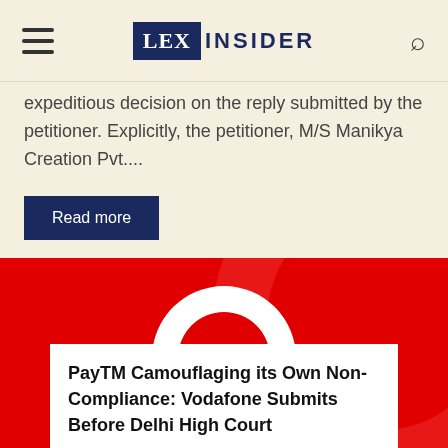LEX INSIDER
expeditious decision on the reply submitted by the petitioner. Explicitly, the petitioner, M/S Manikya Creation Pvt....
Read more
[Figure (photo): Vodafone logo on red background — white speech-mark/quotation circle logo centered on red with a lighter red decorative arc element]
PayTM Camouflaging its Own Non-Compliance: Vodafone Submits Before Delhi High Court